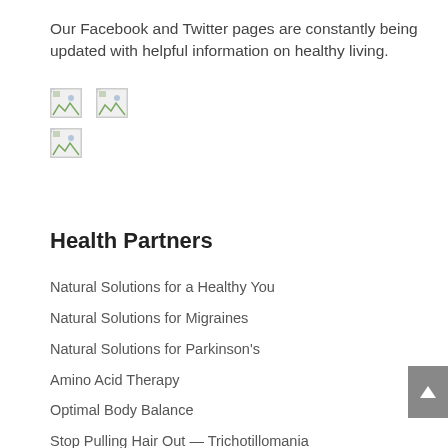Our Facebook and Twitter pages are constantly being updated with helpful information on healthy living.
[Figure (illustration): Three broken image placeholder icons arranged in two rows]
Health Partners
Natural Solutions for a Healthy You
Natural Solutions for Migraines
Natural Solutions for Parkinson's
Amino Acid Therapy
Optimal Body Balance
Stop Pulling Hair Out — Trichotillomania
Natural Path Health Center